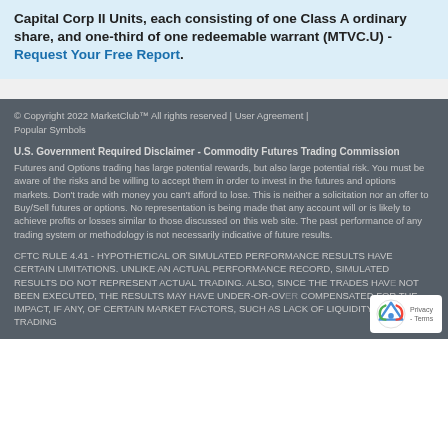Capital Corp II Units, each consisting of one Class A ordinary share, and one-third of one redeemable warrant (MTVC.U) - Request Your Free Report.
© Copyright 2022 MarketClub™ All rights reserved | User Agreement | Popular Symbols
U.S. Government Required Disclaimer - Commodity Futures Trading Commission
Futures and Options trading has large potential rewards, but also large potential risk. You must be aware of the risks and be willing to accept them in order to invest in the futures and options markets. Don't trade with money you can't afford to lose. This is neither a solicitation nor an offer to Buy/Sell futures or options. No representation is being made that any account will or is likely to achieve profits or losses similar to those discussed on this web site. The past performance of any trading system or methodology is not necessarily indicative of future results.
CFTC RULE 4.41 - HYPOTHETICAL OR SIMULATED PERFORMANCE RESULTS HAVE CERTAIN LIMITATIONS. UNLIKE AN ACTUAL PERFORMANCE RECORD, SIMULATED RESULTS DO NOT REPRESENT ACTUAL TRADING. ALSO, SINCE THE TRADES HAVE NOT BEEN EXECUTED, THE RESULTS MAY HAVE UNDER-OR-OVER COMPENSATED FOR THE IMPACT, IF ANY, OF CERTAIN MARKET FACTORS, SUCH AS LACK OF LIQUIDITY. SIMULATED TRADING